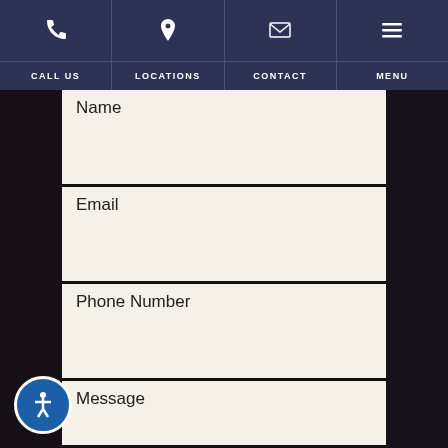CALL US | LOCATIONS | CONTACT | MENU
Name
Email
Phone Number
Message